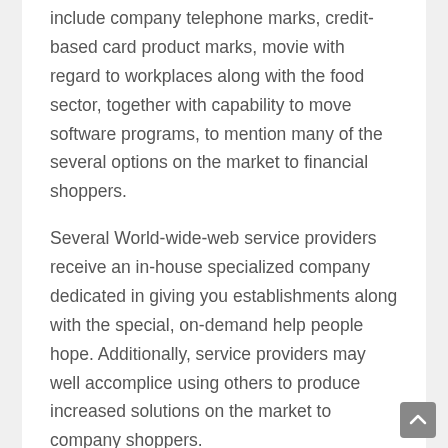include company telephone marks, credit-based card product marks, movie with regard to workplaces along with the food sector, together with capability to move software programs, to mention many of the several options on the market to financial shoppers.
Several World-wide-web service providers receive an in-house specialized company dedicated in giving you establishments along with the special, on-demand help people hope. Additionally, service providers may well accomplice using others to produce increased solutions on the market to company shoppers.
Routers together with Multi-level Adapters
With regard to clients yearn Wi-Fi property social